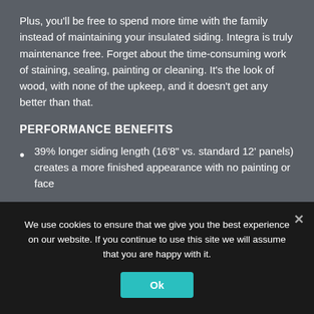Plus, you'll be free to spend more time with the family instead of maintaining your insulated siding. Integra is truly maintenance free. Forget about the time-consuming work of staining, sealing, painting or cleaning. It's the look of wood, with none of the upkeep, and it doesn't get any better than that.
PERFORMANCE BENEFITS
39% longer siding length (16'8" vs. standard 12' panels) creates a more finished appearance with no painting or face
We use cookies to ensure that we give you the best experience on our website. If you continue to use this site we will assume that you are happy with it.